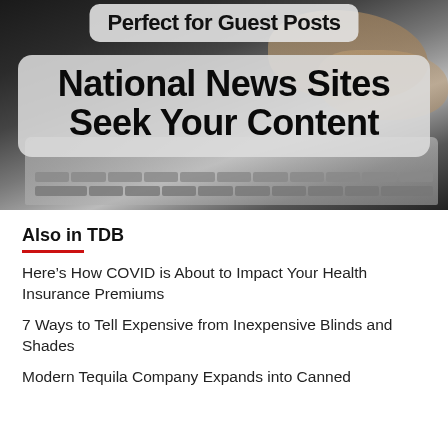[Figure (photo): Photo of hands typing on a laptop keyboard with dark background, overlaid with text boxes reading 'Perfect for Guest Posts' and 'National News Sites Seek Your Content']
Also in TDB
Here’s How COVID is About to Impact Your Health Insurance Premiums
7 Ways to Tell Expensive from Inexpensive Blinds and Shades
Modern Tequila Company Expands into Canned